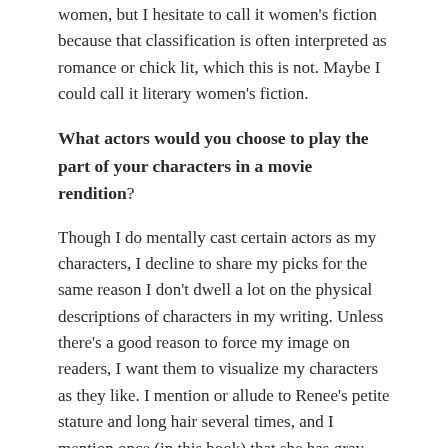women, but I hesitate to call it women's fiction because that classification is often interpreted as romance or chick lit, which this is not. Maybe I could call it literary women's fiction.
What actors would you choose to play the part of your characters in a movie rendition?
Though I do mentally cast certain actors as my characters, I decline to share my picks for the same reason I don't dwell a lot on the physical descriptions of characters in my writing. Unless there's a good reason to force my image on readers, I want them to visualize my characters as they like. I mention or allude to Renee's petite stature and long hair several times, and I mention once (in this book) that she has gray eyes. In my head, she's a more petite version of a certain actress.
Jalal was described in more detail in The Brevity of Roses